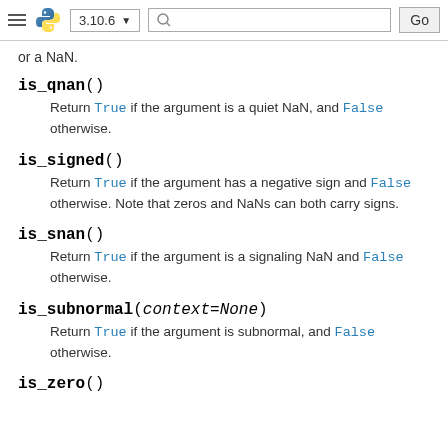3.10.6 [search] Go
or a NaN.
is_qnan()
Return True if the argument is a quiet NaN, and False otherwise.
is_signed()
Return True if the argument has a negative sign and False otherwise. Note that zeros and NaNs can both carry signs.
is_snan()
Return True if the argument is a signaling NaN and False otherwise.
is_subnormal(context=None)
Return True if the argument is subnormal, and False otherwise.
is_zero()